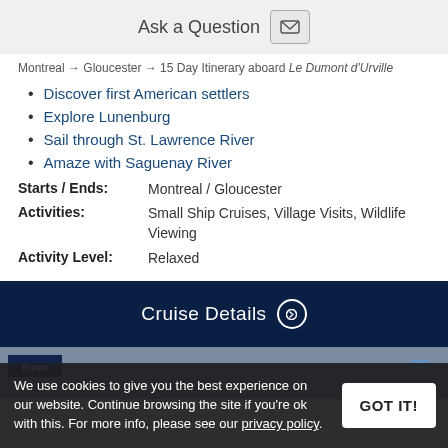Ask a Question
Montreal → Gloucester → 15 Day Itinerary aboard Le Dumont d'Urville
Discover first American settlers
Explore Lunenburg
Sail through St. Lawrence River
Amaze with Saguenay River
Starts / Ends: Montreal / Gloucester
Activities: Small Ship Cruises, Village Visits, Wildlife Viewing
Activity Level: Relaxed
Cruise Details
[Figure (screenshot): Bottom section showing a 'from' price box and heart icon on a blue-grey image background]
We use cookies to give you the best experience on our website. Continue browsing the site if you're ok with this. For more info, please see our privacy policy.